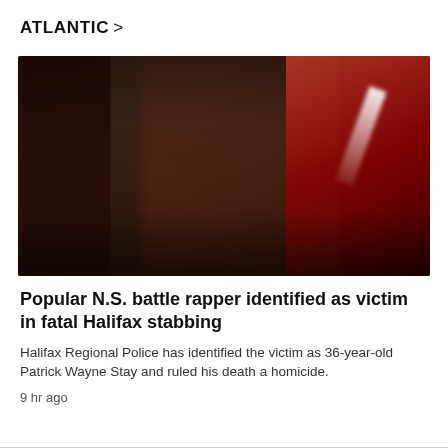ATLANTIC >
[Figure (photo): A bald man with a goatee and tattoos wearing a black and pink Toronto Raptors basketball jersey and gold chain, photographed in a nightclub setting with red and dark lighting.]
Popular N.S. battle rapper identified as victim in fatal Halifax stabbing
Halifax Regional Police has identified the victim as 36-year-old Patrick Wayne Stay and ruled his death a homicide.
9 hr ago